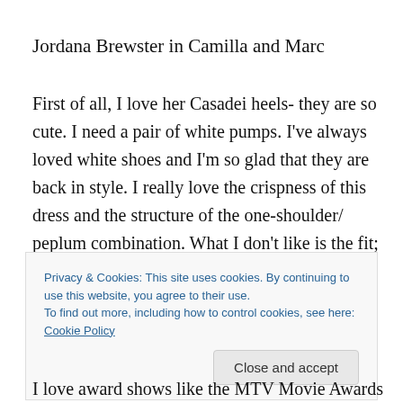Jordana Brewster in Camilla and Marc
First of all, I love her Casadei heels- they are so cute. I need a pair of white pumps. I've always loved white shoes and I'm so glad that they are back in style. I really love the crispness of this dress and the structure of the one-shoulder/ peplum combination. What I don't like is the fit; the dress is buckling badly, and the seaming detail, which
Privacy & Cookies: This site uses cookies. By continuing to use this website, you agree to their use.
To find out more, including how to control cookies, see here: Cookie Policy
I love award shows like the MTV Movie Awards!. The less